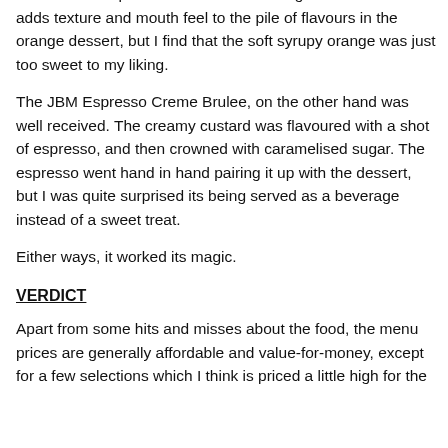The dessert experience was mixed. The grand marnier foam adds texture and mouth feel to the pile of flavours in the orange dessert, but I find that the soft syrupy orange was just too sweet to my liking.
The JBM Espresso Creme Brulee, on the other hand was well received. The creamy custard was flavoured with a shot of espresso, and then crowned with caramelised sugar. The espresso went hand in hand pairing it up with the dessert, but I was quite surprised its being served as a beverage instead of a sweet treat.
Either ways, it worked its magic.
VERDICT
Apart from some hits and misses about the food, the menu prices are generally affordable and value-for-money, except for a few selections which I think is priced a little high for the